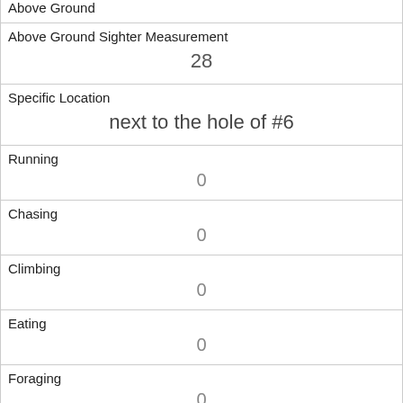| Above Ground |  |
| Above Ground Sighter Measurement | 28 |
| Specific Location | next to the hole of #6 |
| Running | 0 |
| Chasing | 0 |
| Climbing | 0 |
| Eating | 0 |
| Foraging | 0 |
| Other Activities | standing |
| Kuks | 0 |
| Quaas | 0 |